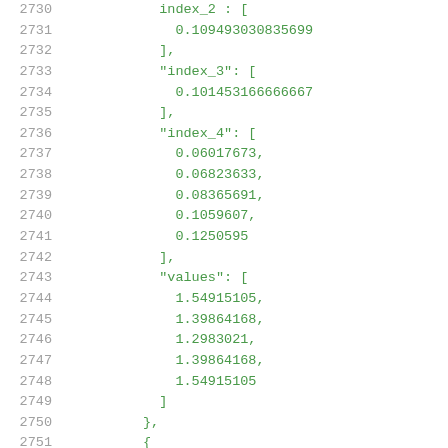Code listing lines 2730-2751 showing JSON data with index_2, index_3, index_4 arrays and values array
2730: index_2 : [
2731:     0.109493030835699
2732: ],
2733: "index_3": [
2734:     0.101453166666667
2735: ],
2736: "index_4": [
2737:     0.06017673,
2738:     0.06823633,
2739:     0.08365691,
2740:     0.1059607,
2741:     0.1250595
2742: ],
2743: "values": [
2744:     1.54915105,
2745:     1.39864168,
2746:     1.2983021,
2747:     1.39864168,
2748:     1.54915105
2749: ]
2750: },
2751: {